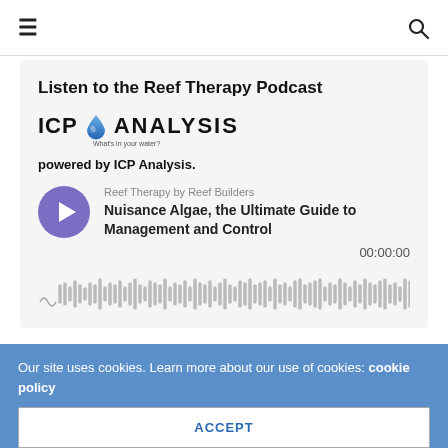≡  🔍
Listen to the Reef Therapy Podcast
[Figure (logo): ICP Analysis logo with water drop icon and tagline 'What's in your water?']
powered by ICP Analysis.
[Figure (other): Podcast player widget showing 'Reef Therapy by Reef Builders' series, episode 'Nuisance Algae, the Ultimate Guide to Management and Control', with play button, timestamp 00:00:00, and audio waveform visualization]
Our site uses cookies. Learn more about our use of cookies: cookie policy
ACCEPT